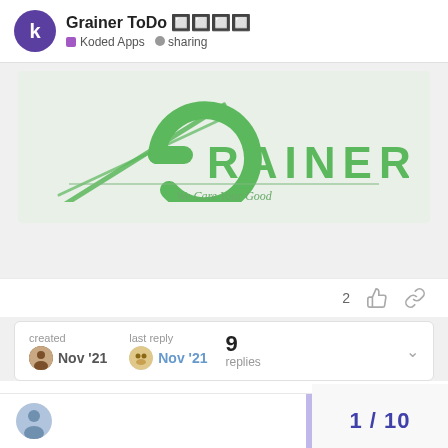Grainer ToDo 🔲🔲🔲🔲 · Koded Apps · sharing
[Figure (logo): Grainer logo on light green background: stylized compass/G letter in green with needle lines, text 'GRAINER' in green capitals, horizontal divider, tagline 'We Care Your Good']
2 likes
created Nov '21   last reply Nov '21   9 replies
1 / 10